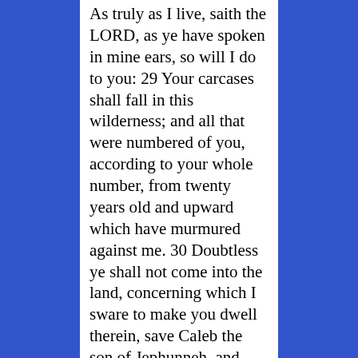As truly as I live, saith the LORD, as ye have spoken in mine ears, so will I do to you: 29 Your carcases shall fall in this wilderness; and all that were numbered of you, according to your whole number, from twenty years old and upward which have murmured against me. 30 Doubtless ye shall not come into the land, concerning which I sware to make you dwell therein, save Caleb the son of Jephunneh, and Joshua the son of Nun. 31 But your little